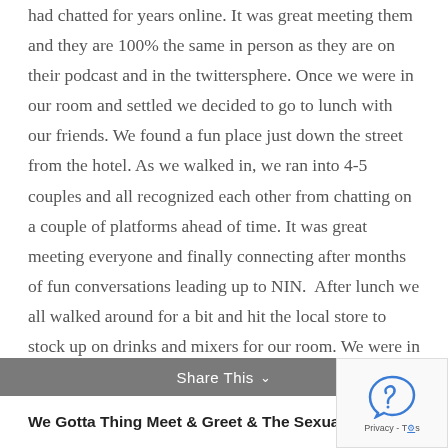had chatted for years online. It was great meeting them and they are 100% the same in person as they are on their podcast and in the twittersphere. Once we were in our room and settled we decided to go to lunch with our friends. We found a fun place just down the street from the hotel. As we walked in, we ran into 4-5 couples and all recognized each other from chatting on a couple of platforms ahead of time. It was great meeting everyone and finally connecting after months of fun conversations leading up to NIN.  After lunch we all walked around for a bit and hit the local store to stock up on drinks and mixers for our room. We were in need of a nap and shower at this point, knowing we had a long night.
Share This ∨
We Gotta Thing Meet & Greet & The Sexual